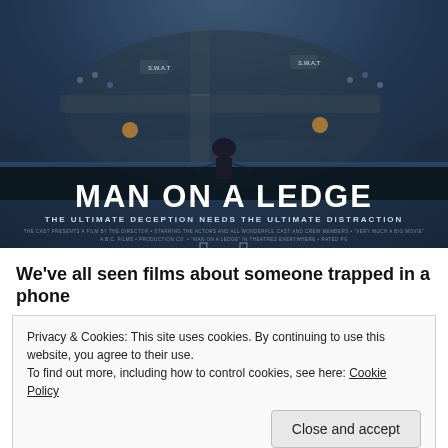[Figure (illustration): Movie poster for 'Man on a Ledge' showing aerial view of a city street with crowds and SWAT vehicles, a man standing on a ledge viewed from above. Title text reads 'MAN ON A LEDGE' with tagline 'THE ULTIMATE DECEPTION NEEDS THE ULTIMATE DISTRACTION'.]
We've all seen films about someone trapped in a phone
Privacy & Cookies: This site uses cookies. By continuing to use this website, you agree to their use.
To find out more, including how to control cookies, see here: Cookie Policy
Close and accept